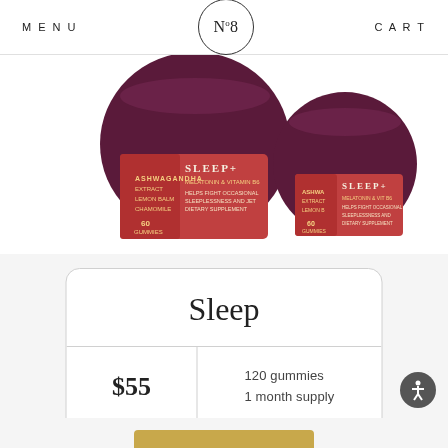MENU | No8 | CART
[Figure (photo): Two dark burgundy/purple jars of 'Sleep' gummy supplement product with red labels, shown from a slightly elevated angle on a white background]
Sleep
| $55 | 120 gummies
1 month supply |
ADD TO CART